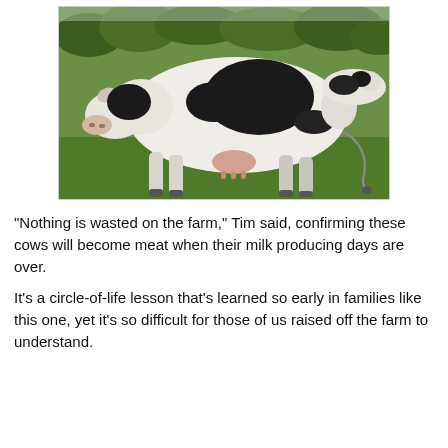[Figure (photo): A black and white Holstein dairy cow standing in a green grass field, facing the camera slightly to the left, with trees visible in the background. A second cow is partially visible behind it on the right.]
“Nothing is wasted on the farm,” Tim said, confirming these cows will become meat when their milk producing days are over.
It’s a circle-of-life lesson that’s learned so early in families like this one, yet it’s so difficult for those of us raised off the farm to understand.